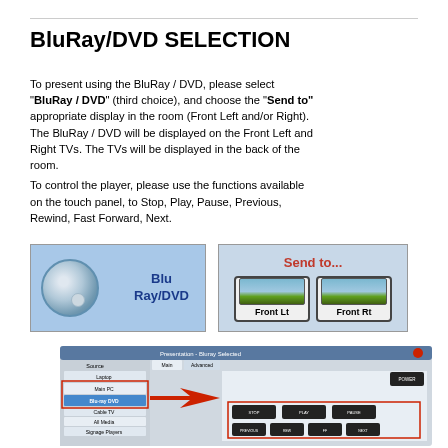BluRay/DVD SELECTION
To present using the BluRay / DVD, please select “BluRay / DVD” (third choice), and choose the “Send to” appropriate display in the room (Front Left and/or Right). The BluRay / DVD will be displayed on the Front Left and Right TVs. The TVs will be displayed in the back of the room.
To control the player, please use the functions available on the touch panel, to Stop, Play, Pause, Previous, Rewind, Fast Forward, Next.
[Figure (screenshot): Touch panel button showing Blu Ray/DVD selection with disc icon on blue background]
[Figure (screenshot): Send to panel showing Front Lt and Front Rt buttons with landscape preview images]
[Figure (screenshot): Presentation control screen - Bluray Selected, showing Source list with Laptop, Main PC, Blu-ray DVD highlighted with red arrow, Cable TV, All Media, Signage Players, and control buttons for Stop, Play, Pause, Previous, Rew, FF, Next inside red rectangles]